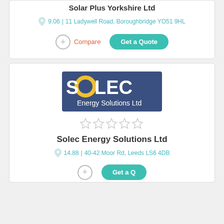Solar Plus Yorkshire Ltd
9.06 | 11 Ladywell Road, Boroughbridge YO51 9HL
Compare | Get a Quote
[Figure (logo): SOLEC Energy Solutions Ltd logo - blue rectangle with yellow circle O and white text]
[Figure (other): Five empty star rating icons]
Solec Energy Solutions Ltd
14.88 | 40-42 Moor Rd, Leeds LS6 4DB